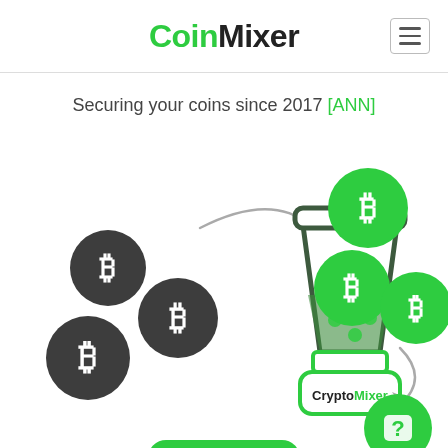CoinMixer
Securing your coins since 2017 [ANN]
[Figure (illustration): CryptoMixer blender illustration: three dark gray bitcoin coins on the left with a curved arrow pointing into a blender (labeled CryptoMixer) in the center, and three green bitcoin coins on the right with a curved arrow pointing away from the blender. A green question mark circle is in the bottom right corner. The blender contains bubbling liquid with dots.]